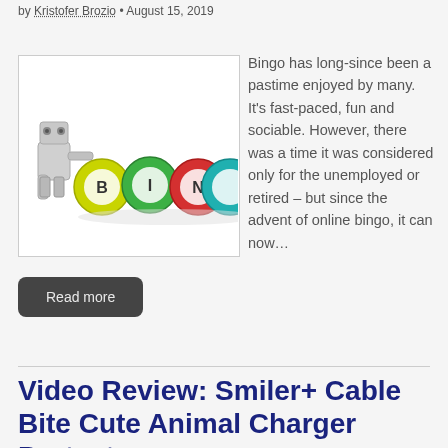by Kristofer Brozio • August 15, 2019
[Figure (illustration): Robot pushing colorful bingo balls labeled B, I, N on white background]
Bingo has long-since been a pastime enjoyed by many. It's fast-paced, fun and sociable. However, there was a time it was considered only for the unemployed or retired – but since the advent of online bingo, it can now…
Read more
Video Review: Smiler+ Cable Bite Cute Animal Charger Protectors